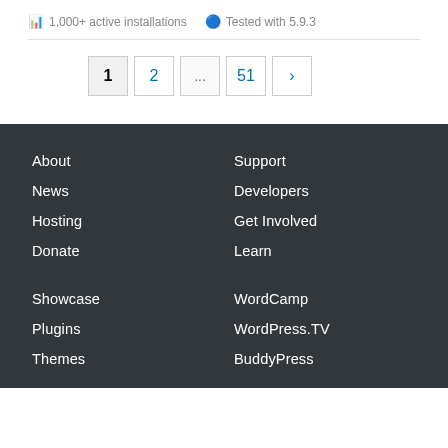1,000+ active installations   Tested with 5.9.3
1  2  ...  51  ›
About
Support
News
Developers
Hosting
Get Involved
Donate
Learn
Showcase
WordCamp
Plugins
WordPress.TV
Themes
BuddyPress